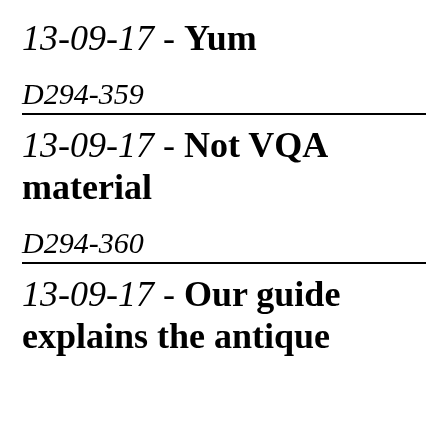13-09-17 - Yum
D294-359
13-09-17 - Not VQA material
D294-360
13-09-17 - Our guide explains the antique